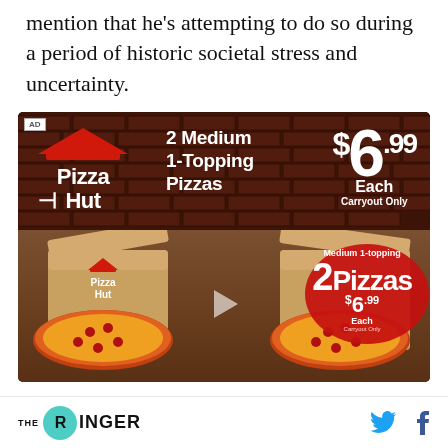mention that he's attempting to do so during a period of historic societal stress and uncertainty.
[Figure (photo): Pizza Hut advertisement showing 2 Medium 1-Topping Pizzas for $6.99 Each, Carryout Only. Features Pizza Hut logo, promotional text, and photo of pizza boxes being opened with pepperoni pizzas inside. Bottom half shows a video thumbnail with '2 Pizzas Medium 1-topping $6.99 Each Carryout Only' text overlay.]
THE RINGER [Twitter icon] [Facebook icon]